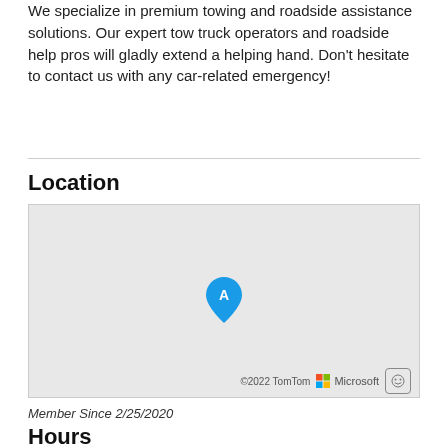We specialize in premium towing and roadside assistance solutions. Our expert tow truck operators and roadside help pros will gladly extend a helping hand. Don't hesitate to contact us with any car-related emergency!
Location
[Figure (map): A Bing map showing a location pin labeled 'A' at the center. The map background is light gray. Bottom attribution reads '©2022 TomTom', Microsoft logo, and a feedback button.]
Member Since 2/25/2020
Hours